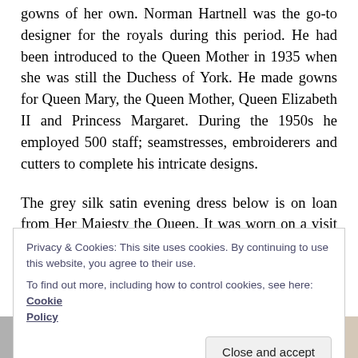gowns of her own. Norman Hartnell was the go-to designer for the royals during this period. He had been introduced to the Queen Mother in 1935 when she was still the Duchess of York. He made gowns for Queen Mary, the Queen Mother, Queen Elizabeth II and Princess Margaret. During the 1950s he employed 500 staff; seamstresses, embroiderers and cutters to complete his intricate designs.
The grey silk satin evening dress below is on loan from Her Majesty the Queen. It was worn on a visit to New York and is decorated with beads, mother of pearl,
Privacy & Cookies: This site uses cookies. By continuing to use this website, you agree to their use.
To find out more, including how to control cookies, see here: Cookie Policy
[Figure (photo): Strip of three thumbnail photos at the bottom of the page]